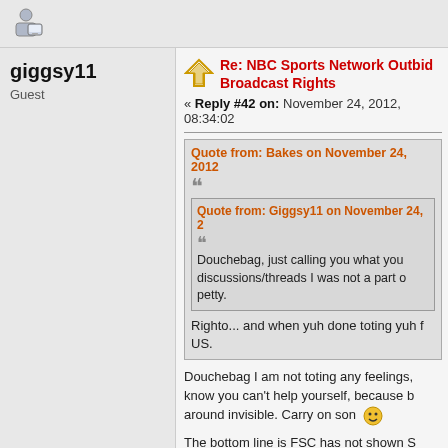[Figure (illustration): User/member icon (person with monitor graphic)]
giggsy11
Guest
Re: NBC Sports Network Outbids: Broadcast Rights
« Reply #42 on: November 24, 2012, 08:34:02
Quote from: Bakes on November 24, 2012
Quote from: Giggsy11 on November 24, 2
Douchebag, just calling you what you... discussions/threads I was not a part of... petty.
Righto... and when yuh done toting yuh f... US.
Douchebag I am not toting any feelings,... know you can't help yourself, because be... around invisible. Carry on son
The bottom line is FSC has not shown S... the matches. Which is what the original...